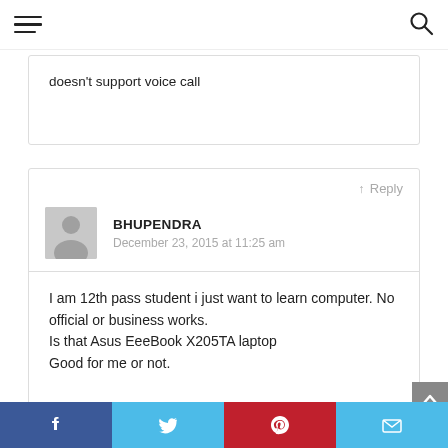Navigation bar with hamburger menu and search icon
doesn't support voice call
↑ Reply
BHUPENDRA
December 23, 2015 at 11:25 am
I am 12th pass student i just want to learn computer. No official or business works.
Is that Asus EeeBook X205TA laptop
Good for me or not.
Facebook | Twitter | Pinterest | Email